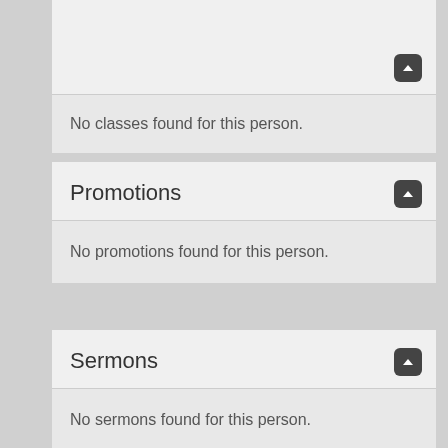No classes found for this person.
Promotions
No promotions found for this person.
Sermons
No sermons found for this person.